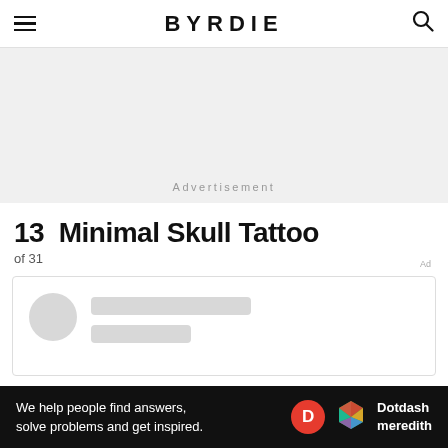BYRDIE
[Figure (other): Advertisement banner placeholder with grey background and 'Advertisement' label]
13 Minimal Skull Tattoo
of 31
[Figure (other): Loading content card placeholder with circular avatar and text line placeholders]
We help people find answers, solve problems and get inspired.
[Figure (logo): Dotdash Meredith logo with red D circle and colorful hexagon icon]